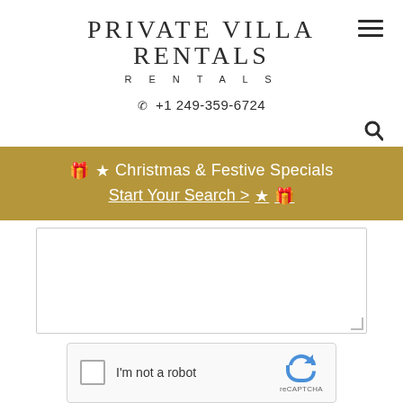PRIVATE VILLA RENTALS
+1 249-359-6724
🎁 ★ Christmas & Festive Specials Start Your Search > ★ 🎁
[Figure (screenshot): Empty textarea form field with resize handle]
[Figure (screenshot): reCAPTCHA widget with checkbox 'I'm not a robot' and reCAPTCHA logo]